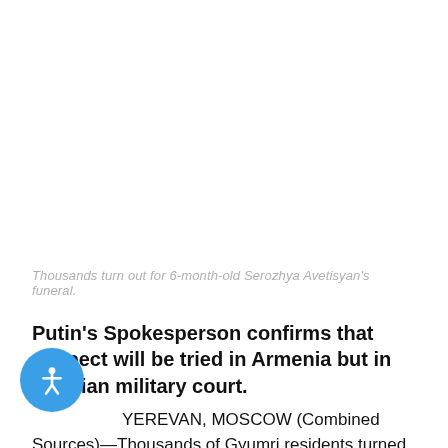Thousands turn out for 6-month-old Serozhya Avetisyan's funeral.
Putin's Spokesperson confirms that suspect will be tried in Armenia but in Russian military court.
YEREVAN, MOSCOW (Combined Sources)—Thousands of Gyumri residents turned out for the funeral of six-month-